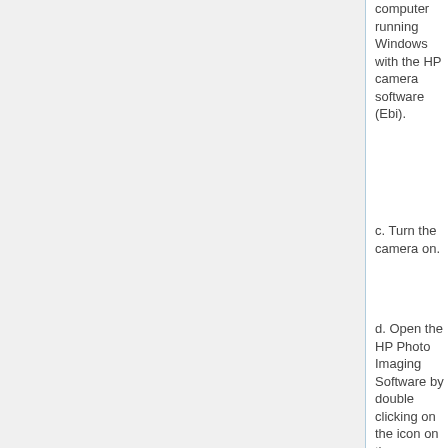computer running Windows with the HP camera software (Ebi).
c. Turn the camera on.
d. Open the HP Photo Imaging Software by double clicking on the icon on the